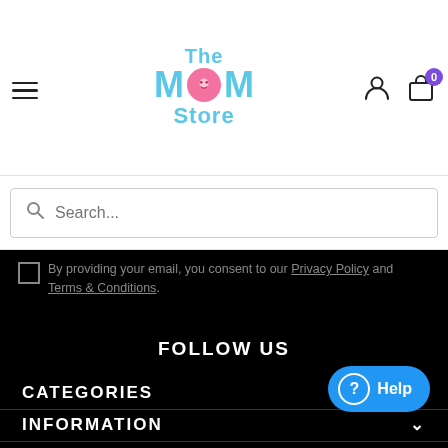[Figure (logo): The MOM Store logo with teal text and pink circle icon]
Search...
By providing your email, you consent to our Privacy Policy and Terms & Conditions.
FOLLOW US
CATEGORIES
INFORMATION